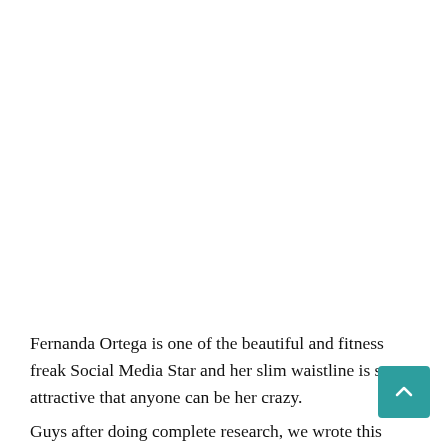Fernanda Ortega is one of the beautiful and fitness freak Social Media Star and her slim waistline is so so attractive that anyone can be her crazy.
Guys after doing complete research, we wrote this